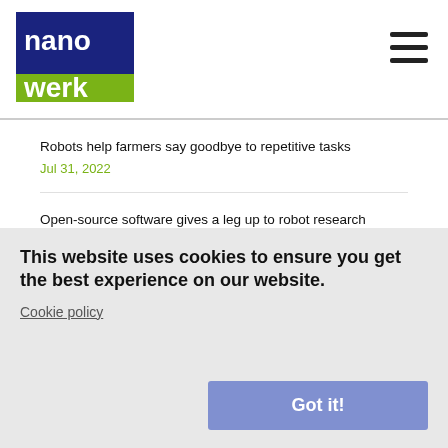nanowerk
Robots help farmers say goodbye to repetitive tasks
Jul 31, 2022
Open-source software gives a leg up to robot research (w/video)
Jul 30, 2022
A system for stable simultaneous communication among thousands of IoT devices?
Jul 30, 2022
How to tell if artificial intelligence is working the way we want it to
Jul 22, 2022
Using artificial intelligence to train teams of robots to work together
Jul 20, 2022
This website uses cookies to ensure you get the best experience on our website.
Cookie policy
Got it!